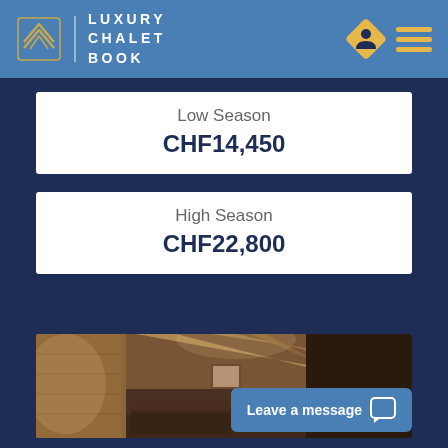LUXURY CHALET BOOK
Low Season
CHF14,450
High Season
CHF22,800
[Figure (photo): Interior of a luxury chalet showing wooden beam ceiling, stone walls, and upscale furnishings]
Leave a message